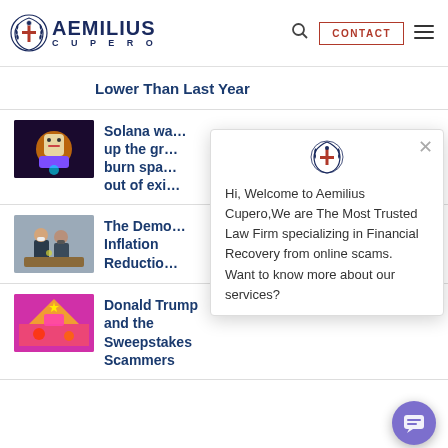AEMILIUS CUPERO — navigation header with logo, search, CONTACT button, and menu
Lower Than Last Year
Solana was up the gr… burn spa… out of exi…
The Demo… Inflation Reductio…
Donald Trump and the Sweepstakes Scammers
[Figure (screenshot): Chat popup overlay from Aemilius Cupero website: shield logo icon, close X button, text: Hi, Welcome to Aemilius Cupero, We are The Most Trusted Law Firm specializing in Financial Recovery from online scams. Want to know more about our services?]